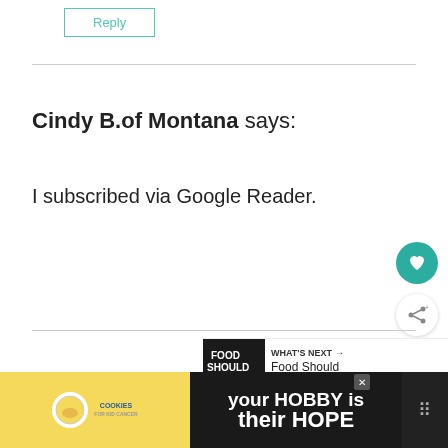Reply
Cindy B.of Montana says:
I subscribed via Google Reader.
Reply
[Figure (infographic): Heart icon button (teal circular button with white heart)]
[Figure (infographic): Share icon button (white circular button with share icon)]
[Figure (infographic): What's Next bar showing Food Should Taste Good... recommendation]
[Figure (infographic): Advertisement banner: cookies for kid cancer - your HOBBY is their HOPE]